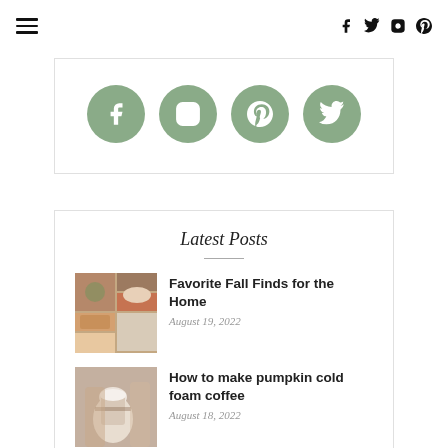≡ f twitter instagram pinterest
[Figure (infographic): Four sage-green circular social media icons: Facebook, Instagram, Pinterest, Twitter]
Latest Posts
[Figure (photo): Collage of fall home decor items including dried botanicals, a wreath, a wooden crate, and white dutch oven]
Favorite Fall Finds for the Home
August 19, 2022
[Figure (photo): A hand holding a mason jar with pumpkin cold foam coffee, cozy setting with knit blanket]
How to make pumpkin cold foam coffee
August 18, 2022